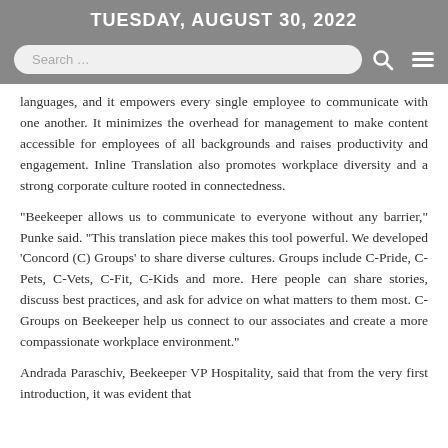TUESDAY, AUGUST 30, 2022
languages, and it empowers every single employee to communicate with one another. It minimizes the overhead for management to make content accessible for employees of all backgrounds and raises productivity and engagement. Inline Translation also promotes workplace diversity and a strong corporate culture rooted in connectedness.
“Beekeeper allows us to communicate to everyone without any barrier,” Punke said. “This translation piece makes this tool powerful. We developed ‘Concord (C) Groups’ to share diverse cultures. Groups include C-Pride, C-Pets, C-Vets, C-Fit, C-Kids and more. Here people can share stories, discuss best practices, and ask for advice on what matters to them most. C-Groups on Beekeeper help us connect to our associates and create a more compassionate workplace environment.”
Andrada Paraschiv, Beekeeper VP Hospitality, said that from the very first introduction, it was evident that